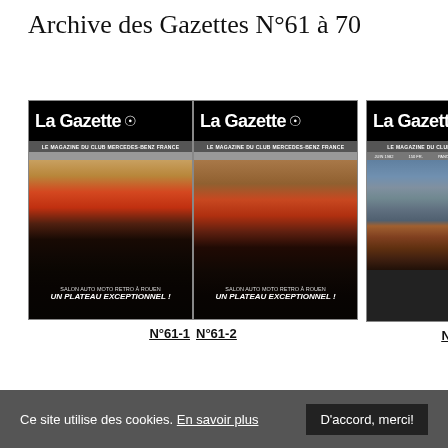Archive des Gazettes N°61 à 70
[Figure (photo): Cover of La Gazette N°61-1, magazine of Club Mercedes-Benz France, showing interior of a car salon with vintage vehicles on a red carpet. Caption: 'Un plateau exceptionnel!']
[Figure (photo): Cover of La Gazette N°62, magazine of Club Mercedes-Benz France, showing classic Mercedes cars parked outside a chateau/castle building. Inset showing another car with label 'Salon Rétromobile à Paris'.]
N°61-1   N°61-2
N°62
Ce site utilise des cookies. En savoir plus   D'accord, merci!